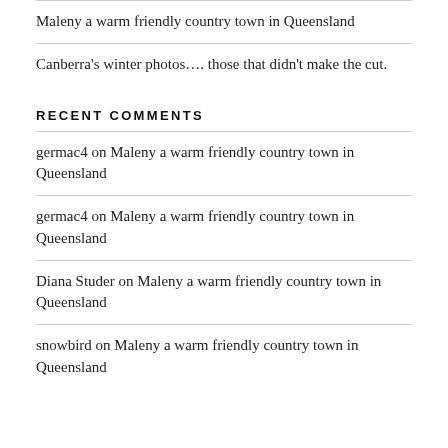Maleny a warm friendly country town in Queensland
Canberra's winter photos…. those that didn't make the cut.
RECENT COMMENTS
germac4 on Maleny a warm friendly country town in Queensland
germac4 on Maleny a warm friendly country town in Queensland
Diana Studer on Maleny a warm friendly country town in Queensland
snowbird on Maleny a warm friendly country town in Queensland